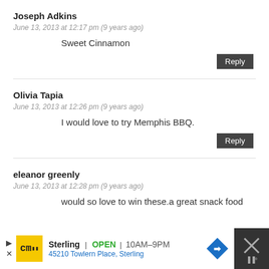Joseph Adkins
June 13, 2013 at 12:17 pm (9 years ago)
Sweet Cinnamon
Olivia Tapia
June 13, 2013 at 12:26 pm (9 years ago)
I would love to try Memphis BBQ.
eleanor greenly
June 13, 2013 at 12:28 pm (9 years ago)
would so love to win these.a great snack food
[Figure (screenshot): Advertisement bar at the bottom showing a CM store in Sterling, OPEN 10AM-9PM, 45210 Towlern Place, Sterling]